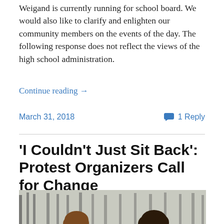Weigand is currently running for school board. We would also like to clarify and enlighten our community members on the events of the day. The following response does not reflect the views of the high school administration.
Continue reading →
March 31, 2018
1 Reply
'I Couldn't Just Sit Back': Protest Organizers Call for Change
[Figure (photo): Two people outdoors in winter, trees in background, snow on ground, one person with curly hair and glasses smiling]